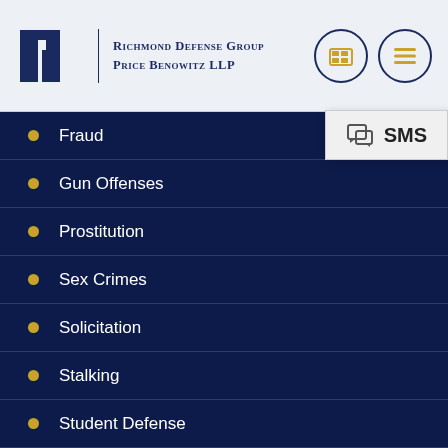Richmond Defense Group Price Benowitz LLP
Fraud
Gun Offenses
Prostitution
Sex Crimes
Solicitation
Stalking
Student Defense
Theft